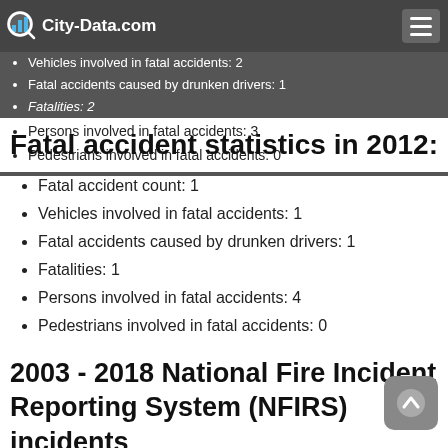City-Data.com
Vehicles involved in fatal accidents: 2
Fatal accidents caused by drunken drivers: 1
Fatalities: 2
Persons involved in fatal accidents: 3
Pedestrians involved in fatal accidents: 0
Fatal accident statistics in 2012:
Fatal accident count: 1
Vehicles involved in fatal accidents: 1
Fatal accidents caused by drunken drivers: 1
Fatalities: 1
Persons involved in fatal accidents: 4
Pedestrians involved in fatal accidents: 0
2003 - 2018 National Fire Incident Reporting System (NFIRS) incidents